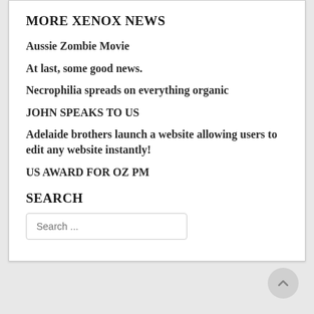MORE XENOX NEWS
Aussie Zombie Movie
At last, some good news.
Necrophilia spreads on everything organic
JOHN SPEAKS TO US
Adelaide brothers launch a website allowing users to edit any website instantly!
US AWARD FOR OZ PM
SEARCH
Search ...